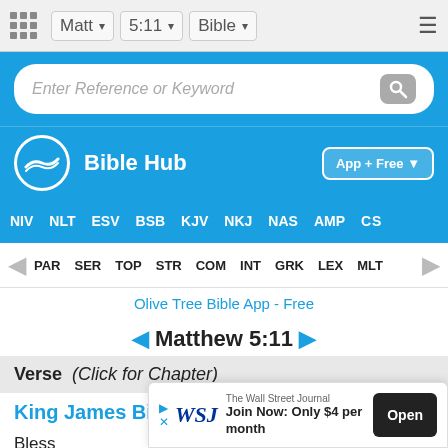Matt  5:11  Bible
[Figure (screenshot): Search bar with placeholder text 'Enter Reference or Keyword' and a search icon button, on a blue background]
[Figure (logo): Bible Hub logo with wave icon and 'App + Free' download button]
NIV  NLT  ESV  BSB  KJV  NKJ  NAS  AMP  CS
PAR  SER  TOP  STR  COM  INT  GRK  LEX  MLT
Olive Tree Bible App - Free
◄ Matthew 5:11 ►
Verse  (Click for Chapter)
King James Bible
Bless... perse... again...
[Figure (screenshot): The Wall Street Journal advertisement: 'Join Now: Only $4 per month' with Open button]